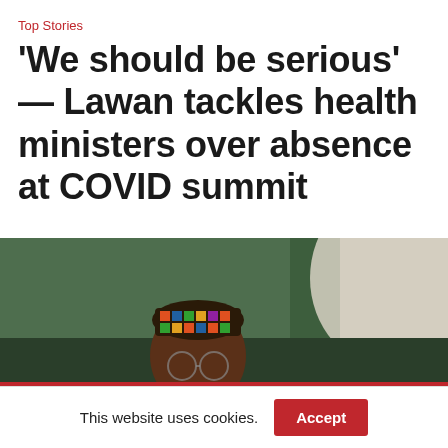Top Stories
‘We should be serious’ — Lawan tackles health ministers over absence at COVID summit
[Figure (photo): Photograph of a man wearing a colorful traditional African cap (kufi), appearing to be mid-speech or in discussion, with a dark green background and light-colored fabric visible on the right side.]
This website uses cookies. Accept